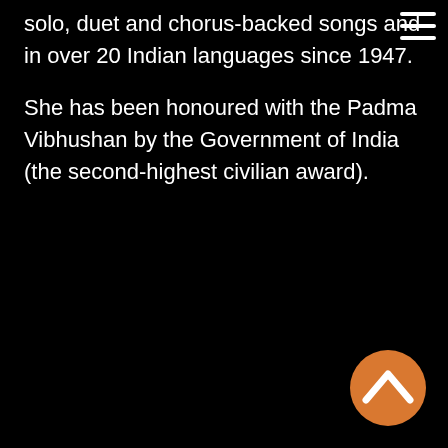solo, duet and chorus-backed songs and in over 20 Indian languages since 1947.
She has been honoured with the Padma Vibhushan by the Government of India (the second-highest civilian award).
[Figure (other): Hamburger menu icon (three horizontal white lines) in top-right corner]
[Figure (other): Orange circular back-to-top button with white chevron/up-arrow icon in bottom-right corner]